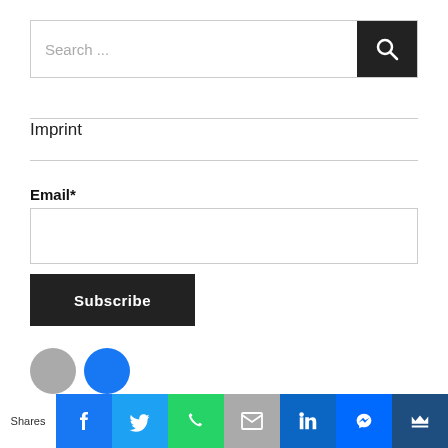[Figure (screenshot): Search input bar with magnifying glass button on dark background]
Imprint
Email*
[Figure (screenshot): Email input field (empty text box)]
[Figure (screenshot): Subscribe button (dark background, white bold text)]
[Figure (infographic): Social share bar with Shares label, Facebook, Twitter, WhatsApp, Email, LinkedIn, Messenger, and crown icon buttons]